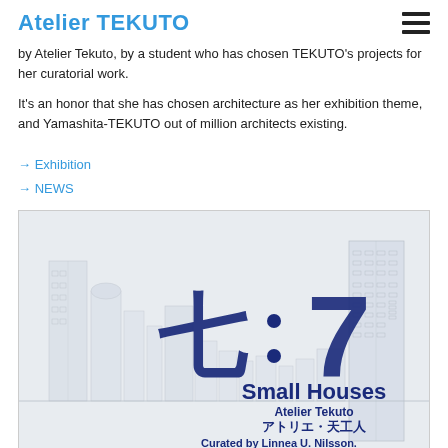Atelier TEKUTO
by Atelier Tekuto, by a student who has chosen TEKUTO's projects for her curatorial work.
It's an honor that she has chosen architecture as her exhibition theme, and Yamashita-TEKUTO out of million architects existing.
→ Exhibition
→ NEWS
[Figure (illustration): Exhibition poster for '七:7 Small Houses' by Atelier Tekuto / アトリエ・天工人, Curated by Linnea U. Nilsson, with a sketch of Tokyo city skyline in the background]